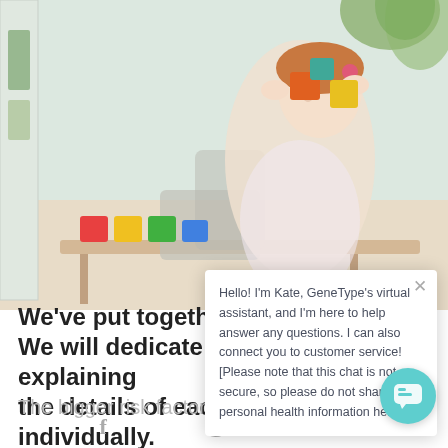[Figure (photo): Child playing with colorful building blocks on a table in a bright playroom, holding blocks up to their face. Shelves visible on the left, plant in background upper right.]
We've put together a guide. We will dedicate a page to explaining the details of each risk factor individually.
Hello! I'm Kate, GeneType's virtual assistant, and I'm here to help answer any questions. I can also connect you to customer service![Please note that this chat is not secure, so please do not share any personal health information here.]
The bigger risk factors:
[Figure (logo): Facebook, Twitter, and LinkedIn social media icons in a row at the bottom of the page]